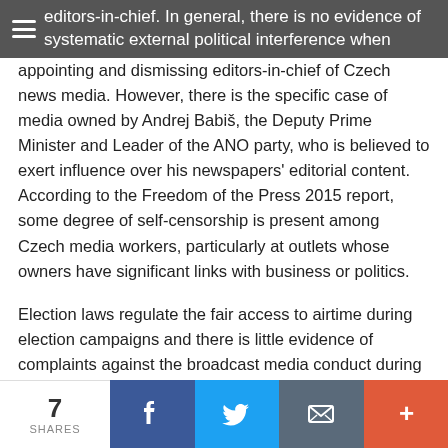editors-in-chief. In general, there is no evidence of systematic external political interference when
appointing and dismissing editors-in-chief of Czech news media. However, there is the specific case of media owned by Andrej Babiš, the Deputy Prime Minister and Leader of the ANO party, who is believed to exert influence over his newspapers' editorial content. According to the Freedom of the Press 2015 report, some degree of self-censorship is present among Czech media workers, particularly at outlets whose owners have significant links with business or politics.
Election laws regulate the fair access to airtime during election campaigns and there is little evidence of complaints against the broadcast media conduct during electoral campaigns. Buying of political advertisements is prohibited. Apart from occasional incidents, Czech broadcasters generally fulfil their legal obligations. Therefore, the indicator Media and democratic electoral process displays an overall low risk (3%).
7 SHARES  [Facebook] [Twitter] [Email] [+]